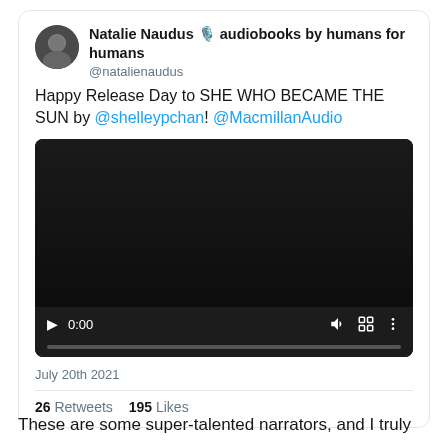[Figure (screenshot): Tweet by Natalie Naudus with avatar photo, username @natalienaudus, tweet text about Happy Release Day to SHE WHO BECAME THE SUN, embedded video player showing 0:00 timestamp, date July 20th 2021, stats 26 Retweets 195 Likes]
These are some super-talented narrators, and I truly